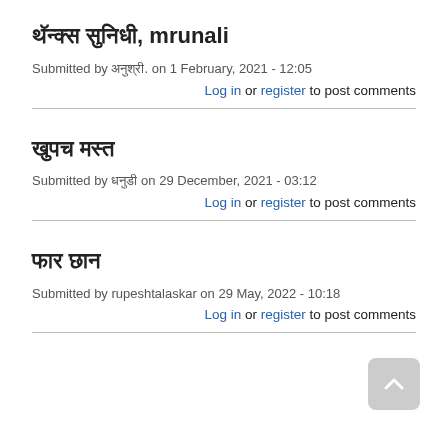थॅन्क्स सुनिधी, mrunali
Submitted by अनुश्री. on 1 February, 2021 - 12:05
Log in or register to post comments
खुपच मस्त
Submitted by धनुडी on 29 December, 2021 - 03:12
Log in or register to post comments
फार छान
Submitted by rupeshtalaskar on 29 May, 2022 - 10:18
Log in or register to post comments